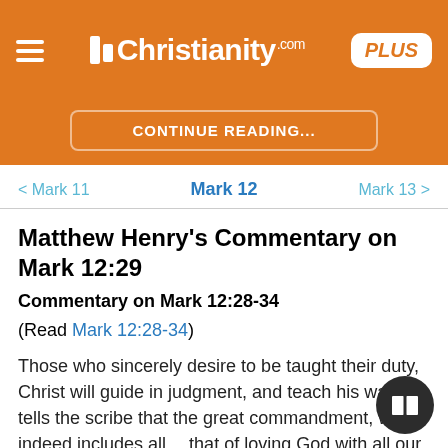Christianity.com PLUS
CONTINUE READING...
< Mark 11   Mark 12   Mark 13 >
Matthew Henry's Commentary on Mark 12:29
Commentary on Mark 12:28-34
(Read Mark 12:28-34)
Those who sincerely desire to be taught their duty, Christ will guide in judgment, and teach his way. He tells the scribe that the great commandment, which indeed includes all, is that of loving God with all our hearts. Whe...